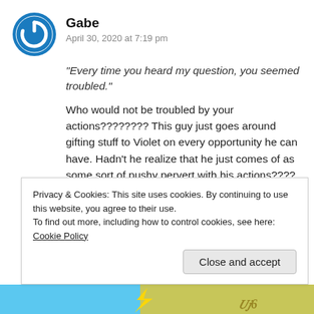[Figure (logo): Blue circular power/refresh icon avatar for user Gabe]
Gabe
April 30, 2020 at 7:19 pm
“Every time you heard my question, you seemed troubled.”
Who would not be troubled by your actions???????? This guy just goes around gifting stuff to Violet on every opportunity he can have. Hadn’t he realize that he just comes of as some sort of pushy pervert with his actions????
I am being reminded of why I have shelved this
Privacy & Cookies: This site uses cookies. By continuing to use this website, you agree to their use.
To find out more, including how to control cookies, see here: Cookie Policy
Close and accept